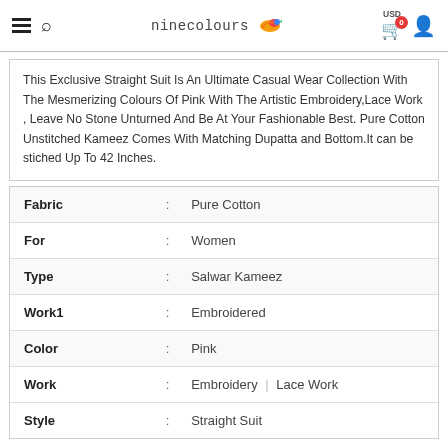ninecolours — USD 0 cart, user icon
This Exclusive Straight Suit Is An Ultimate Casual Wear Collection With The Mesmerizing Colours Of Pink With The Artistic Embroidery,Lace Work , Leave No Stone Unturned And Be At Your Fashionable Best. Pure Cotton Unstitched Kameez Comes With Matching Dupatta and Bottom.It can be stiched Up To 42 Inches.
| Attribute | : | Value |
| --- | --- | --- |
| Fabric | : | Pure Cotton |
| For | : | Women |
| Type | : | Salwar Kameez |
| Work1 | : | Embroidered |
| Color | : | Pink |
| Work | : | Embroidery | Lace Work |
| Style | : | Straight Suit |